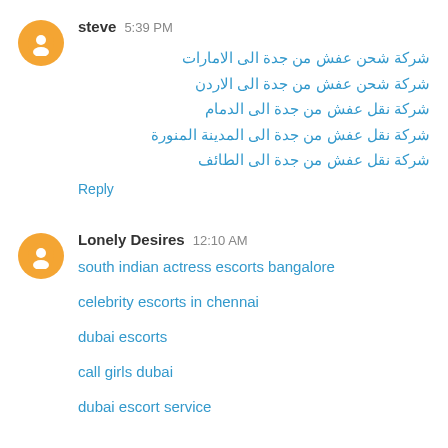steve 5:39 PM
شركة شحن عفش من جدة الى الامارات
شركة شحن عفش من جدة الى الاردن
شركة نقل عفش من جدة الى الدمام
شركة نقل عفش من جدة الى المدينة المنورة
شركة نقل عفش من جدة الى الطائف
Reply
Lonely Desires 12:10 AM
south indian actress escorts bangalore
celebrity escorts in chennai
dubai escorts
call girls dubai
dubai escort service